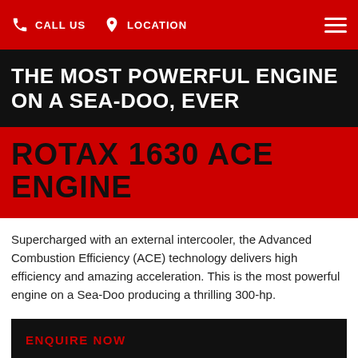CALL US  LOCATION
THE MOST POWERFUL ENGINE ON A SEA-DOO, EVER
ROTAX 1630 ACE ENGINE
Supercharged with an external intercooler, the Advanced Combustion Efficiency (ACE) technology delivers high efficiency and amazing acceleration. This is the most powerful engine on a Sea-Doo producing a thrilling 300-hp.
ENQUIRE NOW
RXT-X 300